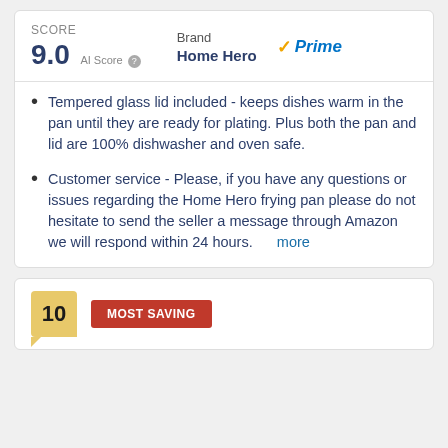SCORE 9.0 AI Score | Brand Home Hero | Prime
Tempered glass lid included - keeps dishes warm in the pan until they are ready for plating. Plus both the pan and lid are 100% dishwasher and oven safe.
Customer service - Please, if you have any questions or issues regarding the Home Hero frying pan please do not hesitate to send the seller a message through Amazon we will respond within 24 hours. more
10  MOST SAVING